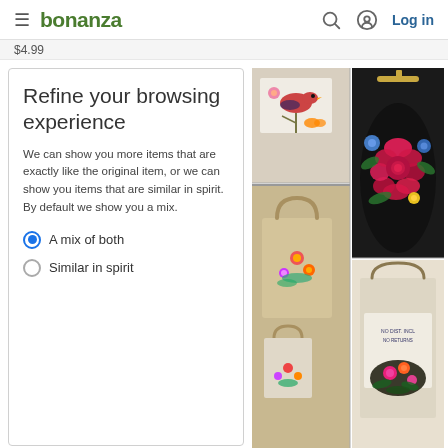bonanza  Log in
$4.99
Refine your browsing experience
We can show you more items that are exactly like the original item, or we can show you items that are similar in spirit. By default we show you a mix.
A mix of both
Similar in spirit
[Figure (photo): Collage of embroidered items including tote bags, coin purses, and fabric patches featuring floral and bird embroidery designs]